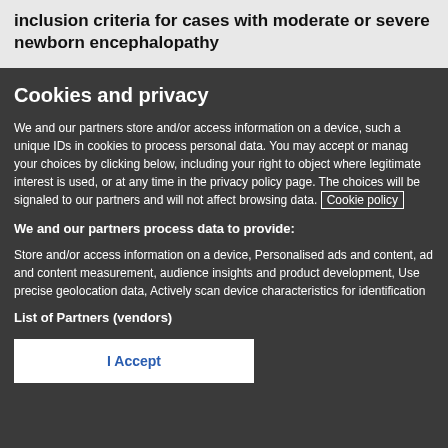inclusion criteria for cases with moderate or severe newborn encephalopathy
Cookies and privacy
We and our partners store and/or access information on a device, such as unique IDs in cookies to process personal data. You may accept or manage your choices by clicking below, including your right to object where legitimate interest is used, or at any time in the privacy policy page. These choices will be signaled to our partners and will not affect browsing data. Cookie policy
We and our partners process data to provide:
Store and/or access information on a device, Personalised ads and content, ad and content measurement, audience insights and product development, Use precise geolocation data, Actively scan device characteristics for identification
List of Partners (vendors)
I Accept